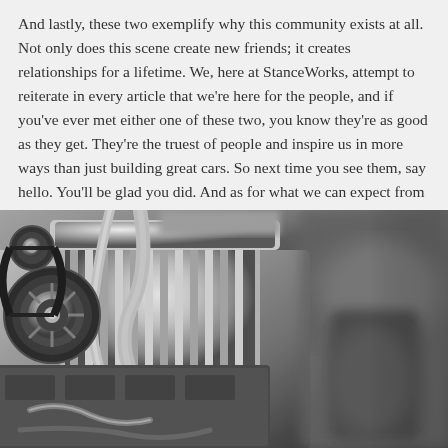And lastly, these two exemplify why this community exists at all. Not only does this scene create new friends; it creates relationships for a lifetime. We, here at StanceWorks, attempt to reiterate in every article that we're here for the people, and if you've ever met either one of these two, you know they're as good as they get. They're the truest of people and inspire us in more ways than just building great cars. So next time you see them, say hello. You'll be glad you did. And as for what we can expect from them next, well, we wish we could share.
[Figure (photo): Black and white close-up photograph of a highly polished chrome car engine, showing intricate engine components including a supercharger or blower, pulleys, belts, and various engine parts. The image is in sharp focus on the left side with the background blurred.]